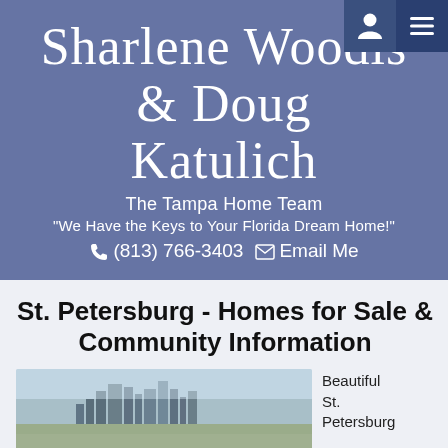Sharlene Woodis & Doug Katulich
The Tampa Home Team
"We Have the Keys to Your Florida Dream Home!"
(813) 766-3403  Email Me
St. Petersburg - Homes for Sale & Community Information
[Figure (photo): Aerial view of St. Petersburg, Florida cityscape with downtown buildings and surrounding urban area]
Beautiful St. Petersburg